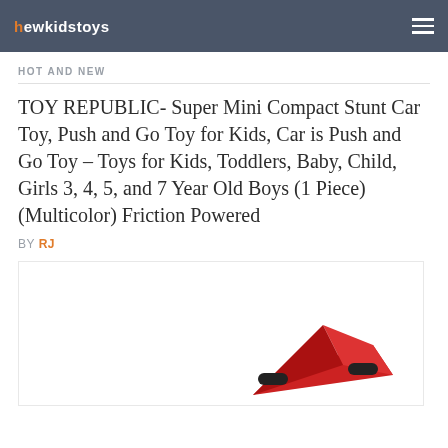newkidstoys
HOT AND NEW
TOY REPUBLIC- Super Mini Compact Stunt Car Toy, Push and Go Toy for Kids, Car is Push and Go Toy – Toys for Kids, Toddlers, Baby, Child, Girls 3, 4, 5, and 7 Year Old Boys (1 Piece) (Multicolor) Friction Powered
BY RJ
[Figure (photo): Partial image of a red toy stunt car at the bottom of the page]